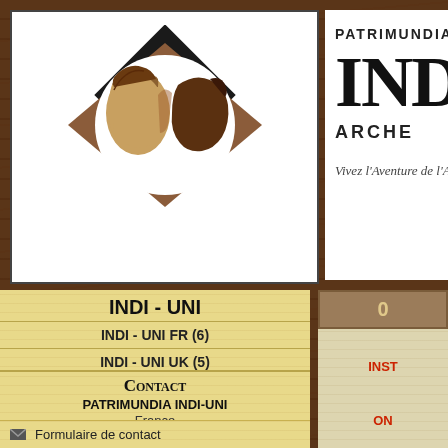[Figure (logo): Diamond-shaped logo with two ancient face profiles (Greek/Roman style busts facing each other) on white background with brown diamond border]
PATRIMUNDIA'S INDI ARCHEO
Vivez l'Aventure de l'Archéo
INDI - UNI
INDI - UNI FR (6)
INDI - UNI UK (5)
PAIEMENT FR (10)
Contact PATRIMUNDIA INDI-UNI France
Formulaire de contact
0
INST
ON